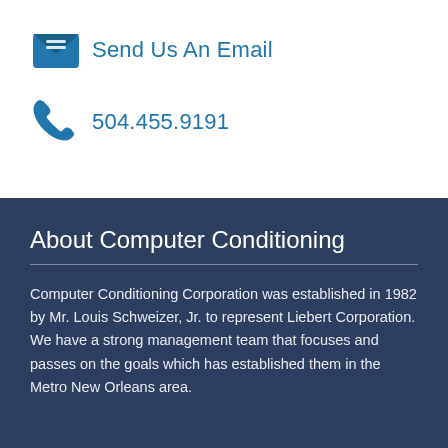[Figure (illustration): Blue envelope icon with lines representing an email letter]
Send Us An Email
[Figure (illustration): Blue telephone/phone handset icon]
504.455.9191
About Computer Conditioning
Computer Conditioning Corporation was established in 1982 by Mr. Louis Schweizer, Jr. to represent Liebert Corporation. We have a strong management team that focuses and passes on the goals which has established them in the Metro New Orleans area.